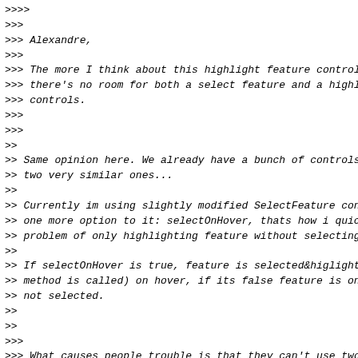>>>>
>>>
>>> Alexandre,
>>>
>>> The more I think about this highlight feature control
>>> there's no room for both a select feature and a highl
>>> controls.
>>>
>>>
>>
>> Same opinion here. We already have a bunch of controls
>> two very similar ones...
>>
>> Currently im using slightly modified SelectFeature con
>> one more option to it: selectOnHover, thats how i quic
>> problem of only highlighting feature without selecting
>>
>> If selectOnHover is true, feature is selected&higligh
>> method is called) on hover, if its false feature is on
>> not selected.
>>
>>
>>>
>>> What causes people trouble is that they can't use two
>>> controls, one in hover mode and the other in click mo
>>> because once a feature is hovered it is selected, and
>>> selected again when it is clicked.
>>>
>>> Maybe we could modify the select feature control so t
>>> optionally uses its own selectedFeatures array, as on